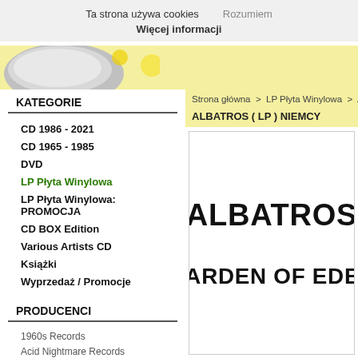Ta strona używa cookies   Rozumiem   Więcej informacji
KATEGORIE
CD 1986 - 2021
CD 1965 - 1985
DVD
LP Płyta Winylowa
LP Płyta Winylowa: PROMOCJA
CD BOX Edition
Various Artists CD
Książki
Wyprzedaż / Promocje
PRODUCENCI
1960s Records
Acid Nightmare Records
Acid Symposium
ACME / UK
AEROSTELLA /Włochy
Akarma
Strona główna  >  LP Płyta Winylowa  >  ALBAT...
ALBATROS ( LP ) NIEMCY
[Figure (photo): Album cover for Albatros - Garden of Eden, showing large bold text ALBATROS and GARDEN OF EDEN on white background]